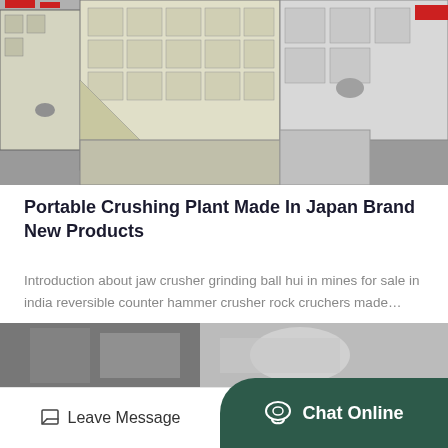[Figure (photo): Photograph of industrial portable crushing plant machinery with large beige/cream colored components on a concrete floor in a factory/warehouse setting.]
Portable Crushing Plant Made In Japan Brand New Products
Introduction about jaw crusher grinding ball hui in mines for sale in india reversible counter hammer crusher rock cruchers made…
Apr_26
GET PRICE
[Figure (photo): Partial photograph of industrial machinery/piping in a factory setting.]
Leave Message
Chat Online